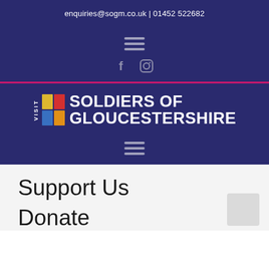enquiries@sogm.co.uk | 01452 522682
[Figure (other): Hamburger menu icon (three horizontal lines) in grey on dark navy background]
[Figure (other): Social media icons: Facebook (f) and Instagram (camera) in grey on dark navy background]
[Figure (logo): Visit Soldiers of Gloucestershire museum logo — coloured quadrant grid with VISIT text vertically, SOLDIERS OF GLOUCESTERSHIRE in white bold text]
[Figure (other): Hamburger menu icon (three horizontal lines) in grey on dark navy background]
Support Us
Donate